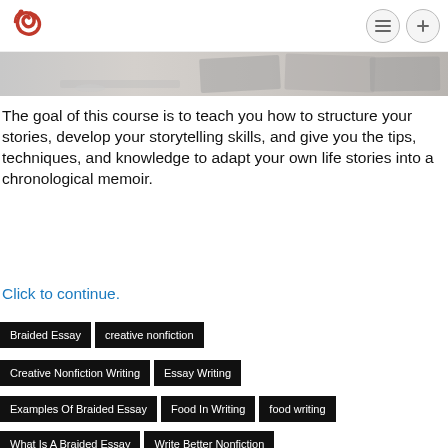[Figure (logo): Red swirl/phoenix logo icon]
[Figure (photo): Partial hero image of open books/magazines on a light surface]
The goal of this course is to teach you how to structure your stories, develop your storytelling skills, and give you the tips, techniques, and knowledge to adapt your own life stories into a chronological memoir.
Click to continue.
Braided Essay
creative nonfiction
Creative Nonfiction Writing
Essay Writing
Examples Of Braided Essay
Food In Writing
food writing
What Is A Braided Essay
Write Better Nonfiction